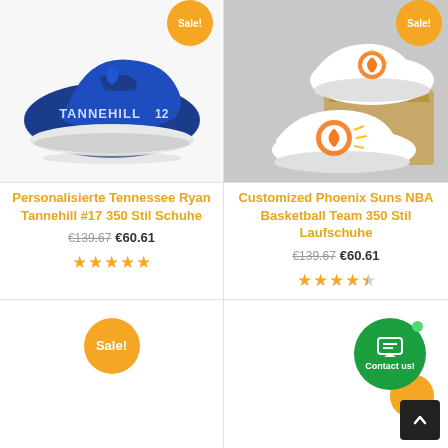[Figure (photo): Blue custom sneaker with TANNEHILL 12 printed on the side, Sale badge in top right corner]
Personalisierte Tennessee Ryan Tannehill #17 350 Stil Schuhe
€139.67  €60.61
★★★★★
[Figure (photo): White custom sneakers with Phoenix Suns NBA basketball logo, shown in pair with box, Sale badge in top right corner]
Customized Phoenix Suns NBA Basketball Team 350 Stil Laufschuhe
€139.67  €60.61
★★★★½
[Figure (other): Bottom left product card placeholder with Sale! badge]
[Figure (other): Contact us green circle button and scroll-to-top black button in bottom right]